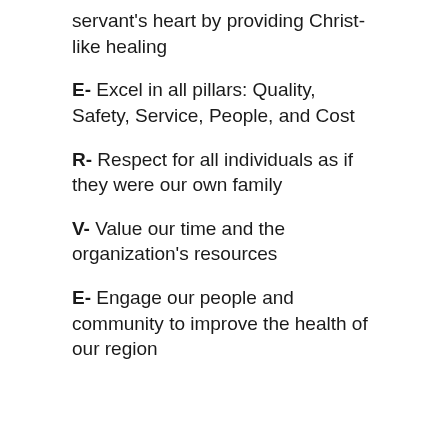servant's heart by providing Christ- like healing
E- Excel in all pillars: Quality, Safety, Service, People, and Cost
R- Respect for all individuals as if they were our own family
V- Value our time and the organization's resources
E- Engage our people and community to improve the health of our region